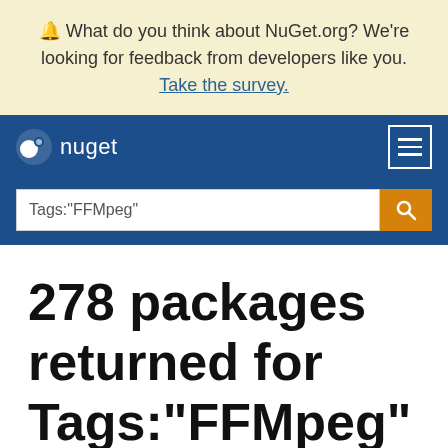🔔 What do you think about NuGet.org? We're looking for feedback from developers like you. Take the survey.
[Figure (logo): NuGet logo with white icon and text 'nuget' on dark blue navbar, hamburger menu icon on right]
Tags:"FFMpeg"
278 packages returned for Tags:"FFMpeg"